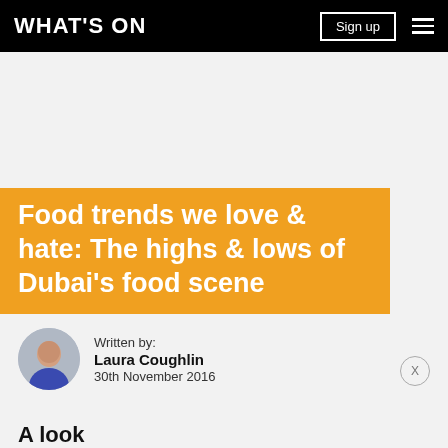WHAT'S ON
Food trends we love & hate: The highs & lows of Dubai's food scene
Written by:
Laura Coughlin
30th November 2016
A look